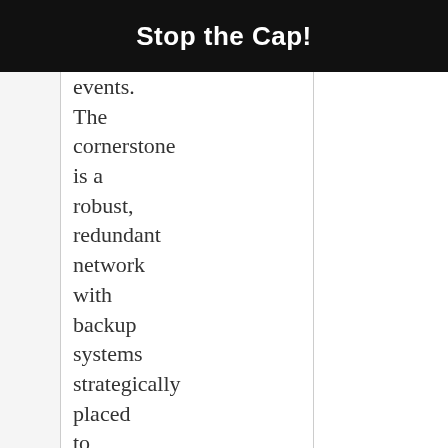Stop the Cap!
events. The cornerstone is a robust, redundant network with backup systems strategically placed to safeguard against unexpected disruptions in the